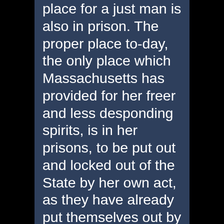place for a just man is also in prison. The proper place to-day, the only place which Massachusetts has provided for her freer and less desponding spirits, is in her prisons, to be put out and locked out of the State by her own act, as they have already put themselves out by